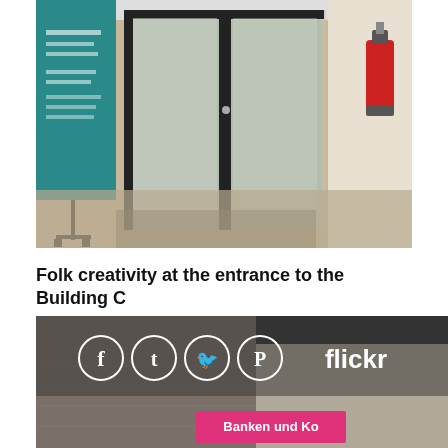[Figure (photo): Photo of a building entrance hallway with glass doors, a teal sign board on the left, a red fire extinguisher on the right wall, and a beige/tan floor.]
Folk creativity at the entrance to the Building C
[Figure (photo): Photo of what appears to be a Flickr social media sharing overlay showing social media icons (Facebook, Tumblr, Twitter, Pinterest) and the flickr logo in white text, with a brick wall and a pink banner reading 'Banken und Ko...' visible below.]